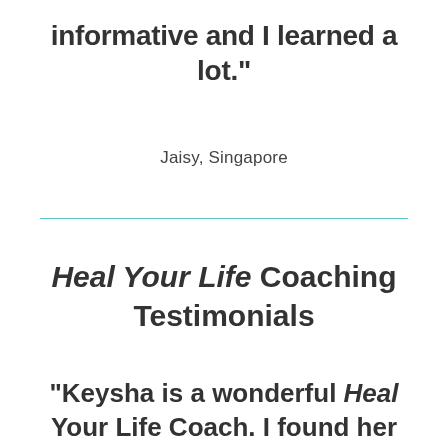informative and I learned a lot.”
Jaisy, Singapore
Heal Your Life Coaching Testimonials
“Keysha is a wonderful Heal Your Life Coach. I found her to